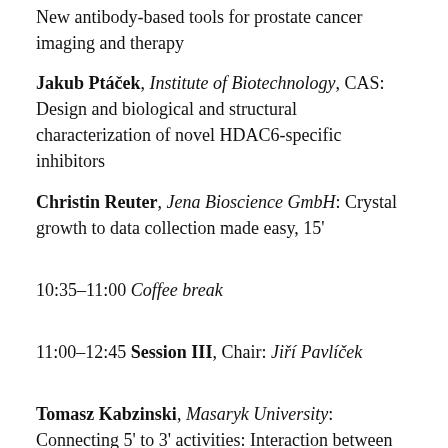New antibody-based tools for prostate cancer imaging and therapy
Jakub Ptáček, Institute of Biotechnology, CAS: Design and biological and structural characterization of novel HDAC6-specific inhibitors
Christin Reuter, Jena Bioscience GmbH: Crystal growth to data collection made easy, 15'
10:35–11:00 Coffee break
11:00–12:45 Session III, Chair: Jiří Pavlíček
Tomasz Kabzinski, Masaryk University: Connecting 5' to 3' activities: Interaction between Rtt103p and Trf4p, 30' (Student talk)
Vojtěch Zapletal, Masaryk University: